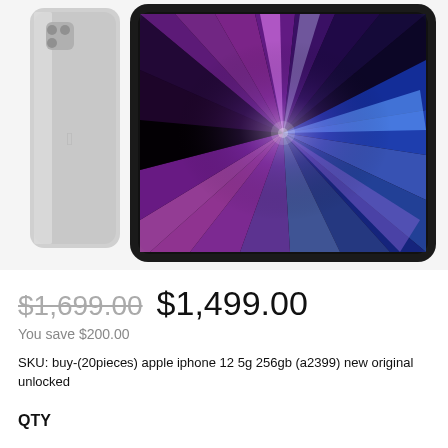[Figure (photo): Apple iPad Pro shown from the back (silver aluminum) and front (display showing colorful radial burst wallpaper with purple, blue, and pink rays on dark background).]
$1,699.00 $1,499.00
You save $200.00
SKU: buy-(20pieces) apple iphone 12 5g 256gb (a2399) new original unlocked
QTY